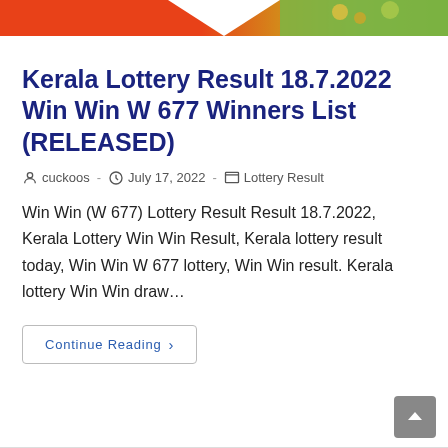[Figure (illustration): Banner image with orange-red gradient on left, nature/flowers on right, white downward triangle cutout in middle]
Kerala Lottery Result 18.7.2022 Win Win W 677 Winners List (RELEASED)
cuckoos · July 17, 2022 · Lottery Result
Win Win (W 677) Lottery Result Result 18.7.2022, Kerala Lottery Win Win Result, Kerala lottery result today, Win Win W 677 lottery, Win Win result. Kerala lottery Win Win draw…
Continue Reading